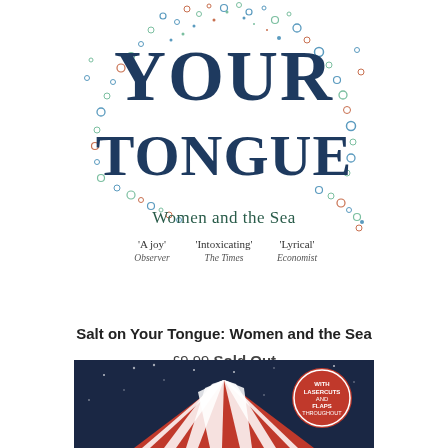[Figure (illustration): Book cover of 'Salt on Your Tongue: Women and the Sea' showing large bold dark blue text 'YOUR TONGUE' surrounded by decorative scattered circles and dots in teal, blue, and orange on white background. Subtitle 'Women and the Sea' in green serif font. Three press quotes: 'A joy' Observer, 'Intoxicating' The Times, 'Lyrical' Economist.]
Salt on Your Tongue: Women and the Sea
£9.99 Sold Out
[Figure (photo): Partial view of a second book cover with dark navy blue background showing a circus tent with red and white stripes, star/sparkle decorations, and a circular badge reading 'WITH LASERCUTS AND FLAPS THROUGHOUT'.]